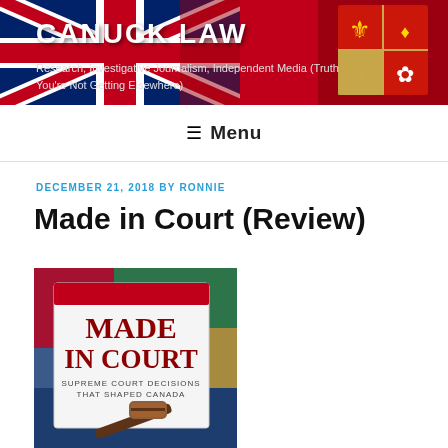CANUCK LAW
Research, Investigative Journalism, Independent Media (Truth You're Not Getting Elsewhere)
≡ Menu
DECEMBER 21, 2018 BY RONNIE
Made in Court (Review)
[Figure (photo): Photograph of the book 'Made in Court: Supreme Court Decisions That Shaped Canada' with a gavel in front of it on a colorful background]